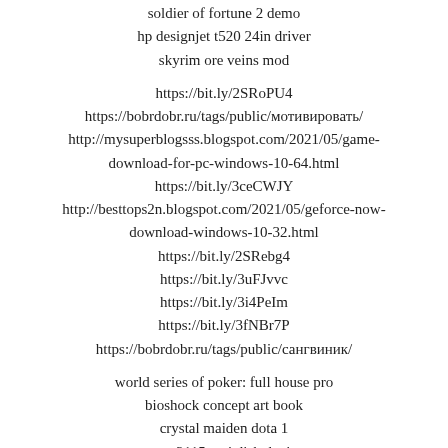soldier of fortune 2 demo
hp designjet t520 24in driver
skyrim ore veins mod
https://bit.ly/2SRoPU4
https://bobrdobr.ru/tags/public/мотивировать/
http://mysuperblogsss.blogspot.com/2021/05/game-download-for-pc-windows-10-64.html
https://bit.ly/3ceCWJY
http://besttops2n.blogspot.com/2021/05/geforce-now-download-windows-10-32.html
https://bit.ly/2SRebg4
https://bit.ly/3uFJvvc
https://bit.ly/3i4PeIm
https://bit.ly/3fNBr7P
https://bobrdobr.ru/tags/public/сангвиник/
world series of poker: full house pro
bioshock concept art book
crystal maiden dota 1
asmt 2115 scsi disk device
kt&c nvr
ernst rise of nightmares
intel r q33 express chipset family
gigabyte ga-78lmt-s2pt